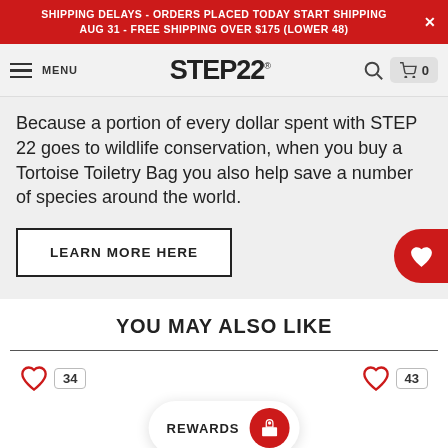SHIPPING DELAYS - ORDERS PLACED TODAY START SHIPPING AUG 31 - FREE SHIPPING OVER $175 (LOWER 48)
MENU STEP22 0
Because a portion of every dollar spent with STEP 22 goes to wildlife conservation, when you buy a Tortoise Toiletry Bag you also help save a number of species around the world.
LEARN MORE HERE
YOU MAY ALSO LIKE
34
43
REWARDS